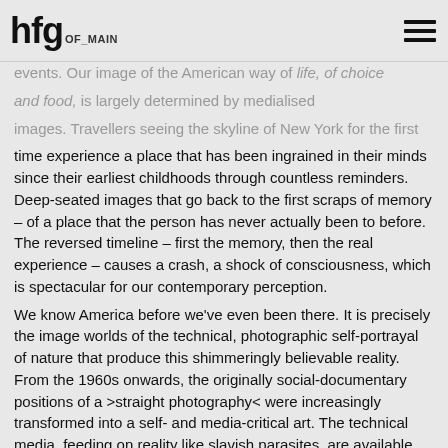hfg OF_MAIN
time experience a place that has been ingrained in their minds since their earliest childhoods through countless reminders. Deep-seated images that go back to the first scraps of memory – of a place that the person has never actually been to before. The reversed timeline – first the memory, then the real experience – causes a crash, a shock of consciousness, which is spectacular for our contemporary perception. We know America before we've even been there. It is precisely the image worlds of the technical, photographic self-portrayal of nature that produce this shimmeringly believable reality. From the 1960s onwards, the originally social-documentary positions of a >straight photography< were increasingly transformed into a self- and media-critical art. The technical media, feeding on reality like slavish parasites, are available for everyone so that image creation becomes democratic. Any dunce can use them; Europe invented photography whilst, with Kodak, America brought the first disposable camera to the market: You press the button, we do the rest. The American western likewise oscillates between imagination
The American western likewise oscillates between imagination